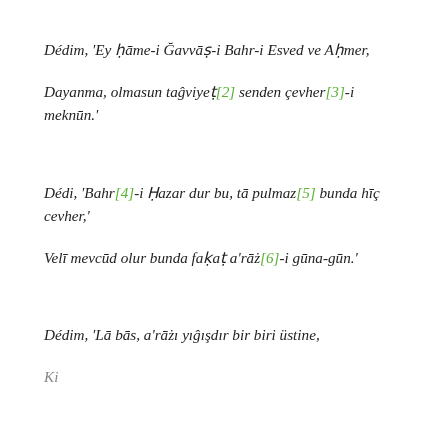Dédim, 'Ey ḥāme-i Ğavvāṣ-i Bahr-i Esved ve Aḥmer,
Dayanma, olmasun taĝviyeṭ[2] senden çevher[3]-i meknūn.'
Dédi, 'Bahr[4]-i Ḥazar dur bu, tā pulmaz[5] bunda hīç cevher,'
Velī mevcūd olur bunda faḳaṭ a'rāż[6]-i gūna-gūn.'
Dédim, 'Lā bās, a'rāżı yıĝışdır bir biri üstine,
Ki...